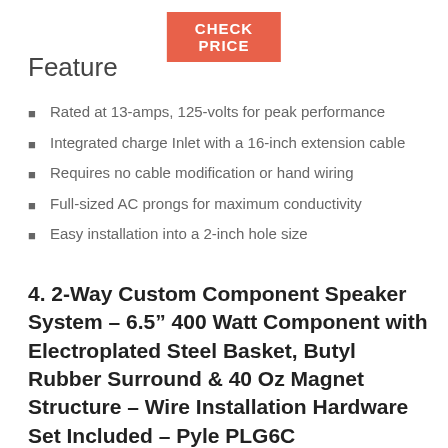[Figure (other): Orange 'CHECK PRICE' button]
Feature
Rated at 13-amps, 125-volts for peak performance
Integrated charge Inlet with a 16-inch extension cable
Requires no cable modification or hand wiring
Full-sized AC prongs for maximum conductivity
Easy installation into a 2-inch hole size
4. 2-Way Custom Component Speaker System – 6.5” 400 Watt Component with Electroplated Steel Basket, Butyl Rubber Surround & 40 Oz Magnet Structure – Wire Installation Hardware Set Included – Pyle PLG6C